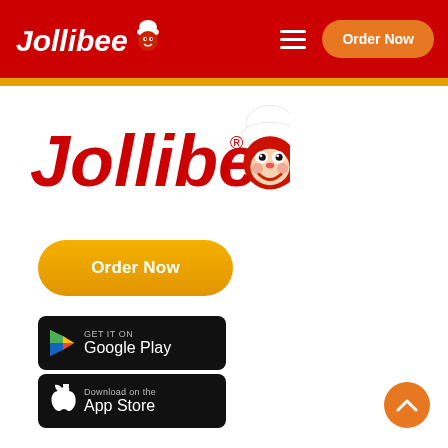[Figure (logo): Jollibee logo in white text with bee mascot on red header background]
[Figure (logo): Large Jollibee logo with red text and bee mascot on white background]
[Figure (illustration): Orange rounded rectangle button with white bold text 'Order Now']
[Figure (illustration): Google Play store badge - black rounded rectangle with play triangle icon and text 'GET IT ON Google Play']
[Figure (illustration): Apple App Store badge - black rounded rectangle with Apple logo and text 'Download on the App Store']
[Figure (illustration): Orange circular scroll-to-top button with upward chevron]